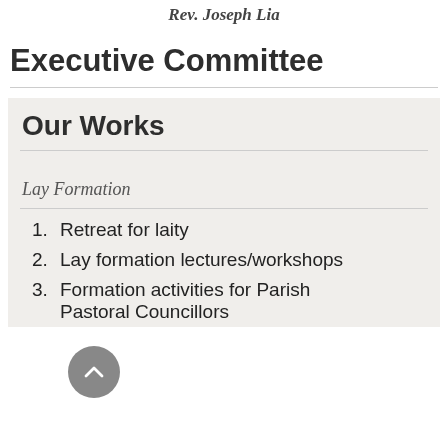Rev. Joseph Lia
Executive Committee
Our Works
Lay Formation
1. Retreat for laity
2. Lay formation lectures/workshops
3. Formation activities for Parish Pastoral Councillors